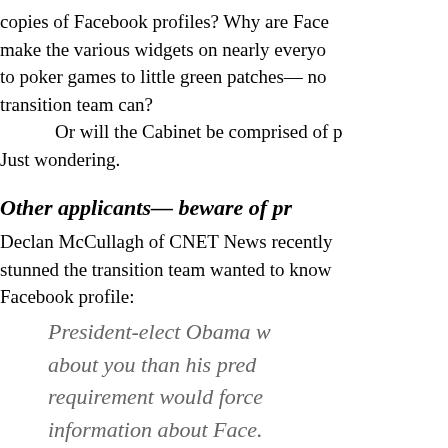copies of Facebook profiles? Why are Face make the various widgets on nearly everyo to poker games to little green patches— no transition team can?
Or will the Cabinet be comprised of p Just wondering.
Other applicants— beware of pr
Declan McCullagh of CNET News recently stunned the transition team wanted to know Facebook profile:
President-elect Obama w about you than his pred requirement would force information about Face pages, profiles posted o even what was posted o